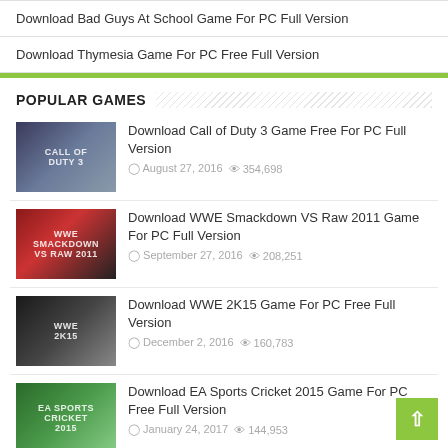Download Bad Guys At School Game For PC Full Version
Download Thymesia Game For PC Free Full Version
POPULAR GAMES
Download Call of Duty 3 Game Free For PC Full Version
August 27, 2016  354,698
Download WWE Smackdown VS Raw 2011 Game For PC Full Version
September 27, 2016  208,251
Download WWE 2K15 Game For PC Free Full Version
December 2, 2016  160,783
Download EA Sports Cricket 2015 Game For PC Free Full Version
January 24, 2017  144,953